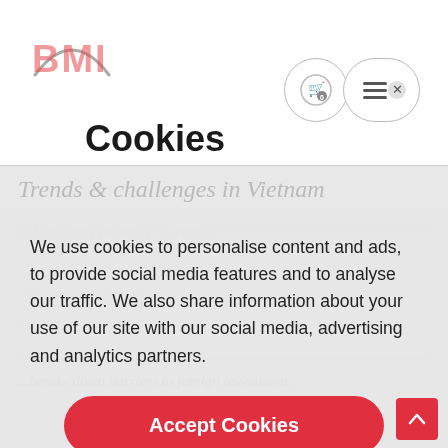[Figure (logo): BMI logo with red text and grey arc graphic above]
Cookies
We use cookies to personalise content and ads, to provide social media features and to analyse our traffic. We also share information about your use of our site with our social media, advertising and analytics partners.
Accept Cookies
Cookie Settings
breaks down barriers to foreign investment.